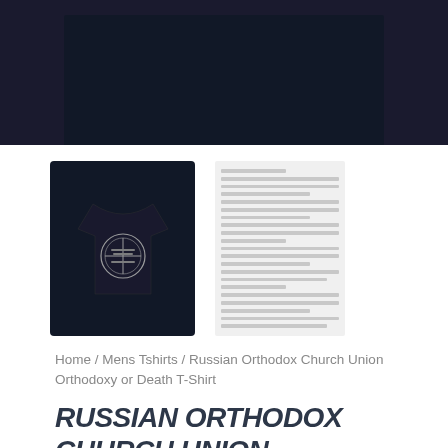[Figure (photo): Top portion of a black t-shirt product image cropped at top]
[Figure (photo): Thumbnail of black t-shirt with Russian Orthodox Church Union graphic design logo]
[Figure (table-as-image): Size chart thumbnail showing garment measurements table]
Home / Mens Tshirts / Russian Orthodox Church Union Orthodoxy or Death T-Shirt
RUSSIAN ORTHODOX CHURCH UNION ORTHODOXY OR DEATH T-SHIRT
Was $18.99 - check current price
Check Out Russian Orthodox Church Union Orthodoxy or